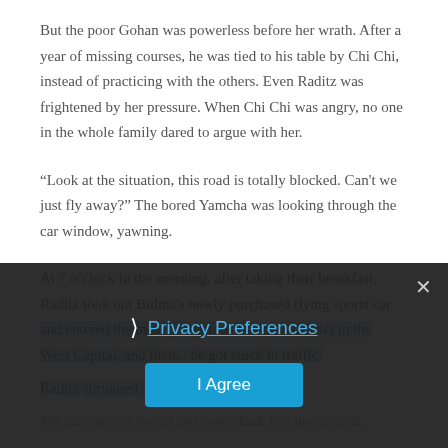But the poor Gohan was powerless before her wrath. After a year of missing courses, he was tied to his table by Chi Chi, instead of practicing with the others. Even Raditz was frightened by her pressure. When Chi Chi was angry, no one in the whole family dared to argue with her.
“Look at the situation, this road is totally blocked. Can’t we just fly away?” The bored Yamcha was looking through the car window, yawning.
At 7 o’clock in the morning, after taking their breakfast, Raditz took out Bulma’s newly purchased flying sports car and entered the most prosperous business district in the West Capital, and then... he got stuck in traffic.
Raditz shrugged. “There’s no way out.”
The guys got off the car and took a back into the car aisle.
[Figure (screenshot): Privacy preferences overlay with close button (x), chevron icon, 'Privacy Preferences' hyperlink in blue, and a blue 'I Agree' button, displayed over darkened background]